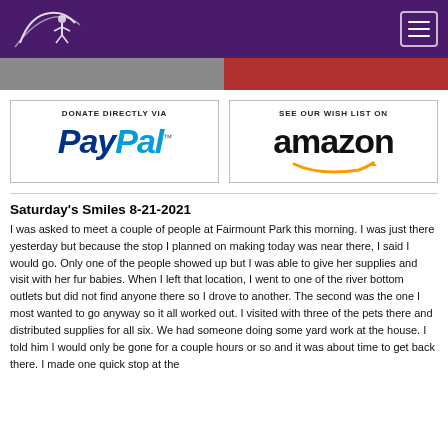Navigation header with logo and hamburger menu
[Figure (screenshot): Two image strips side by side - left gray, right dark red]
[Figure (logo): Donate directly via PayPal button with PayPal logo]
[Figure (logo): See our wish list on Amazon button with Amazon logo]
Saturday's Smiles 8-21-2021
I was asked to meet a couple of people at Fairmount Park this morning. I was just there yesterday but because the stop I planned on making today was near there, I said I would go. Only one of the people showed up but I was able to give her supplies and visit with her fur babies. When I left that location, I went to one of the river bottom outlets but did not find anyone there so I drove to another. The second was the one I most wanted to go anyway so it all worked out. I visited with three of the pets there and distributed supplies for all six. We had someone doing some yard work at the house. I told him I would only be gone for a couple hours or so and it was about time to get back there. I made one quick stop at the